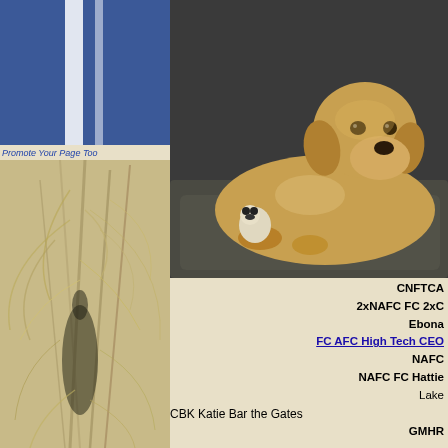[Figure (screenshot): Facebook blue logo block at top left with white stripes]
Promote Your Page Too
[Figure (photo): Decorative dried plant / corn stalks nature background on left column]
[Figure (photo): Yellow Labrador Retriever dog lying on a dark cushion with a stuffed toy panda]
CNFTCA
2xNAFC FC 2xC
Ebona
FC AFC High Tech CEO
NAFC
NAFC FC Hattie
Lake
CBK Katie Bar the Gates
GMHR